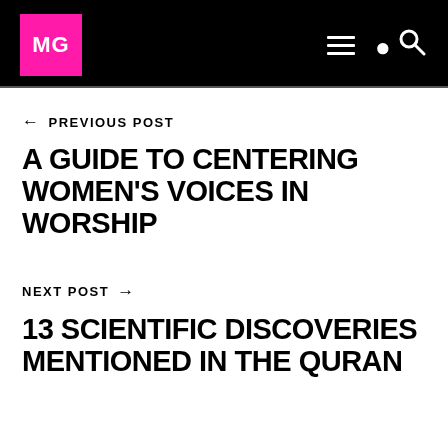MG
← PREVIOUS POST
A GUIDE TO CENTERING WOMEN'S VOICES IN WORSHIP
NEXT POST →
13 SCIENTIFIC DISCOVERIES MENTIONED IN THE QURAN